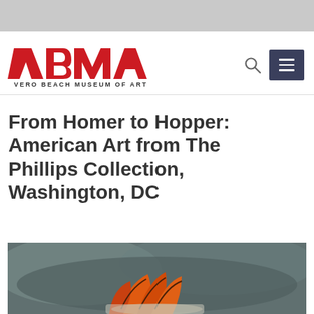[Figure (logo): VBMA - Vero Beach Museum of Art logo with red stylized letters and black text below]
From Homer to Hopper: American Art from The Phillips Collection, Washington, DC
[Figure (photo): Partial view of an artwork showing orange and dark shapes against a grey-green background]